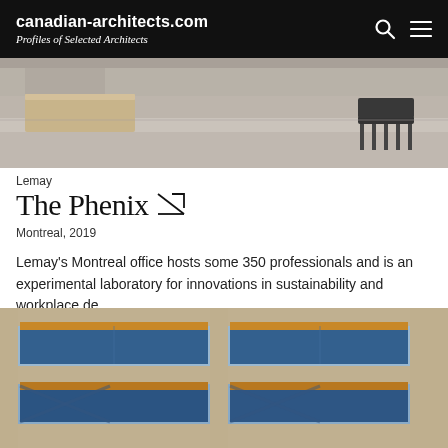canadian-architects.com — Profiles of Selected Architects
[Figure (photo): Interior photograph of an office space with polished concrete floor, a light wood desk or counter on the left, and dark chairs visible on the right. Neutral tones throughout.]
Lemay
The Phenix
Montreal, 2019
Lemay's Montreal office hosts some 350 professionals and is an experimental laboratory for innovations in sustainability and workplace de...
[Figure (photo): Exterior photograph of a modern building facade at dusk or night, featuring a concrete grid structure with warm amber lighting in the ceiling recesses and blue glass curtain walls and panels.]